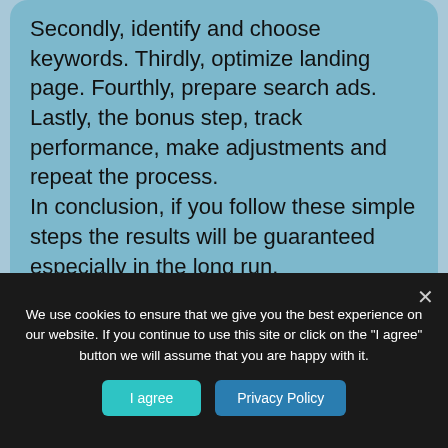Secondly, identify and choose keywords. Thirdly, optimize landing page. Fourthly, prepare search ads. Lastly, the bonus step, track performance, make adjustments and repeat the process. In conclusion, if you follow these simple steps the results will be guaranteed especially in the long run.
[Figure (illustration): Partial illustration of a book/folder icon in dark blue/indigo color, partially visible at the bottom of the page content area.]
We use cookies to ensure that we give you the best experience on our website. If you continue to use this site or click on the "I agree" button we will assume that you are happy with it.